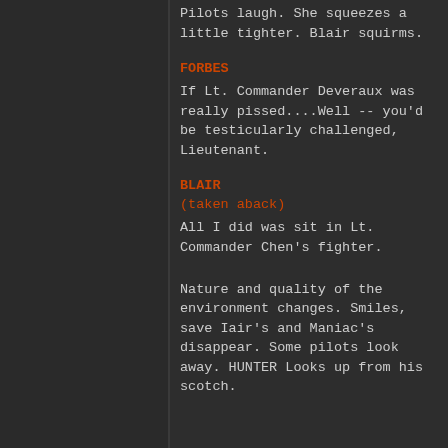Pilots laugh. She squeezes a little tighter. Blair squirms.
FORBES
If Lt. Commander Deveraux was really pissed....Well -- you'd be testicularly challenged, Lieutenant.
BLAIR
(taken aback)
All I did was sit in Lt. Commander Chen's fighter.
Nature and quality of the environment changes. Smiles, save Iair's and Maniac's disappear. Some pilots look away. HUNTER Looks up from his scotch.